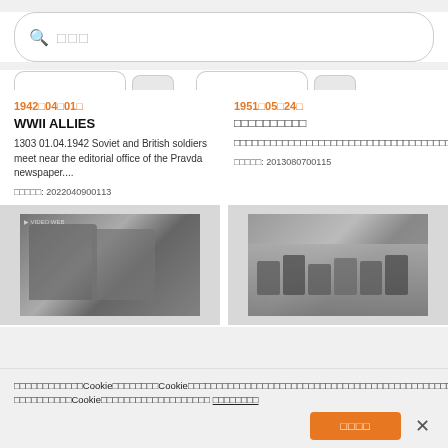□□□ (search placeholder)
1942□04□01□
1951□05□24□
WWII ALLIES
□□□□□□□□□□
1303 01.04.1942 Soviet and British soldiers meet near the editorial office of the Pravda newspaper....
□□□□□□□□□□□□□□□□□□□□□□□□□□□□□□□□□□□□□□□□□□□□□□□□□□□□□□□□□□□□□□□□□
□□□□□: 2022040900113
□□□□□: 2013080700115
[Figure (photo): Black and white photo showing two soldiers/people looking at something together, likely at an editorial office]
[Figure (photo): Black and white photo showing a group of people seated around a table]
□□□□□□□□□□□□Cookie□□□□□□□□Cookie□□□□□□□□□□□□□□□□□□□□□□□□□□□□□□□□□□□□□□□□□□□□□□□□□□□□□□□□Cookie□□□□□□□□□□□□□□□□□□□ □□□□□□□□
□□□□ (accept button)